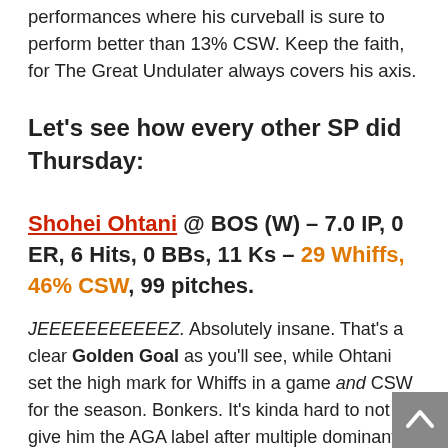performances where his curveball is sure to perform better than 13% CSW. Keep the faith, for The Great Undulater always covers his axis.
Let's see how every other SP did Thursday:
Shohei Ohtani @ BOS (W) – 7.0 IP, 0 ER, 6 Hits, 0 BBs, 11 Ks – 29 Whiffs, 46% CSW, 99 pitches.
JEEEEEEEEEEEZ. Absolutely insane. That's a clear Golden Goal as you'll see, while Ohtani set the high mark for Whiffs in a game and CSW for the season. Bonkers. It's kinda hard to not give him the AGA label after multiple dominant starts like this across just a few